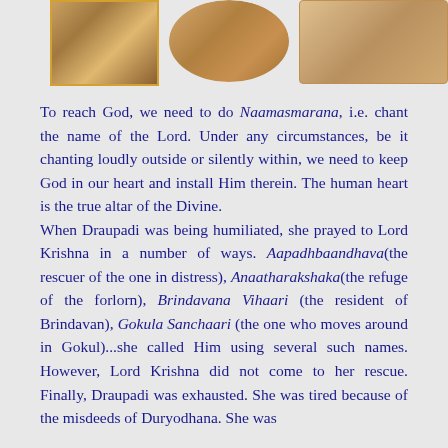[Figure (illustration): Two religious/mythological illustrations at the top of the page showing figures in traditional Indian style artwork]
To reach God, we need to do Naamasmarana, i.e. chant the name of the Lord. Under any circumstances, be it chanting loudly outside or silently within, we need to keep God in our heart and install Him therein. The human heart is the true altar of the Divine.
When Draupadi was being humiliated, she prayed to Lord Krishna in a number of ways. Aapadhbaandhava(the rescuer of the one in distress), Anaatharakshaka(the refuge of the forlorn), Brindavana Vihaari (the resident of Brindavan), Gokula Sanchaari (the one who moves around in Gokul)...she called Him using several such names. However, Lord Krishna did not come to her rescue. Finally, Draupadi was exhausted. She was tired because of the misdeeds of Duryodhana. She was